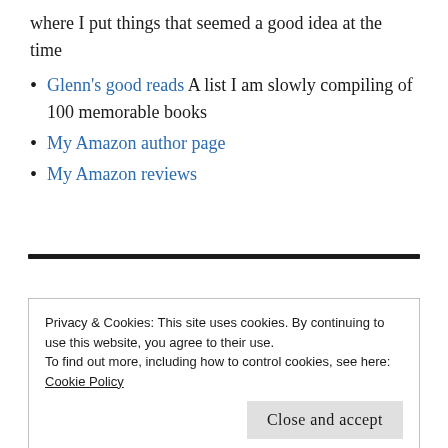where I put things that seemed a good idea at the time
Glenn's good reads A list I am slowly compiling of 100 memorable books
My Amazon author page
My Amazon reviews
Privacy & Cookies: This site uses cookies. By continuing to use this website, you agree to their use.
To find out more, including how to control cookies, see here:
Cookie Policy
Close and accept